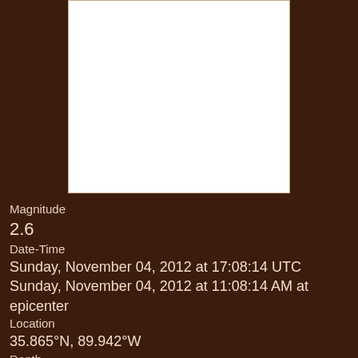[Figure (map): White map area showing earthquake epicenter location — blank white rectangle with brown border]
Magnitude
2.6
Date-Time
Sunday, November 04, 2012 at 17:08:14 UTC
Sunday, November 04, 2012 at 11:08:14 AM at epicenter
Location
35.865°N, 89.942°W
Depth
9.5 km (5.9 miles)
Region